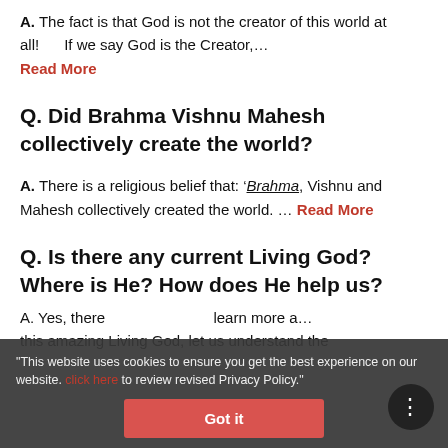A. The fact is that God is not the creator of this world at all!     If we say God is the Creator,… Read More
Q. Did Brahma Vishnu Mahesh collectively create the world?
A. There is a religious belief that: 'Brahma, Vishnu and Mahesh collectively created the world. … Read More
Q. Is there any current Living God? Where is He? How does He help us?
A. Yes, there … learn more a… this amazing Living God, let us understand the
"This website uses cookies to ensure you get the best experience on our website. click here to review revised Privacy Policy." Got it